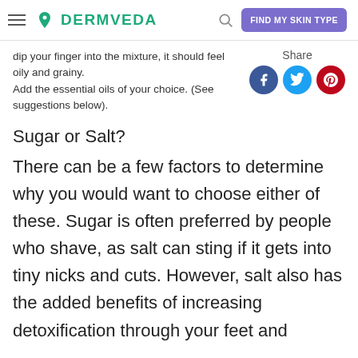DERMVEDA | FIND MY SKIN TYPE
dip your finger into the mixture, it should feel oily and grainy.
Add the essential oils of your choice. (See suggestions below).
Share
Sugar or Salt?
There can be a few factors to determine why you would want to choose either of these. Sugar is often preferred by people who shave, as salt can sting if it gets into tiny nicks and cuts. However, salt also has the added benefits of increasing detoxification through your feet and